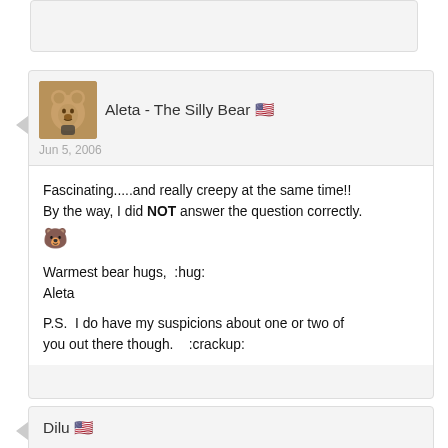[partial previous post card at top]
Aleta - The Silly Bear 🇺🇸
Jun 5, 2006
Fascinating.....and really creepy at the same time!! By the way, I did NOT answer the question correctly. 🐻

Warmest bear hugs,  :hug:
Aleta

P.S.  I do have my suspicions about one or two of you out there though.    :crackup:
Dilu 🇺🇸